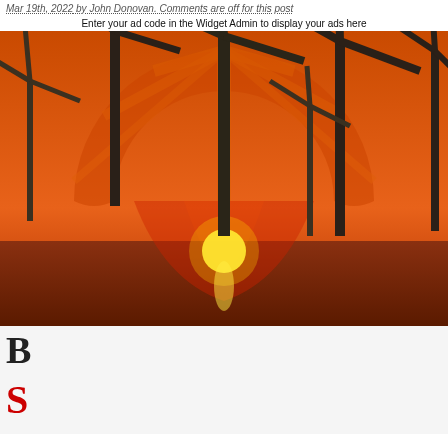Mar 19th, 2022 by John Donovan. Comments are off for this post
Enter your ad code in the Widget Admin to display your ads here
[Figure (photo): Wind turbines silhouetted against an orange sunset sky with the Shell oil company scallop logo overlaid as a large semi-transparent backdrop]
B
S
Royal Dutch Shell Group .com Cookies Policy
Our Website uses cookies to improve your experience. Please visit our Privacy page for more information about cookies and how we use them.